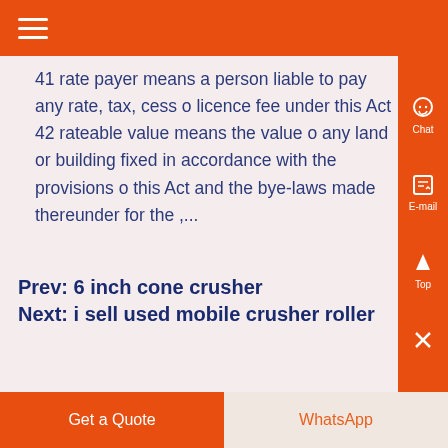Navigation menu header bar
41 rate payer means a person liable to pay any rate, tax, cess or licence fee under this Act 42 rateable value means the value of any land or building fixed in accordance with the provisions of this Act and the bye-laws made thereunder for the ,...
Prev: 6 inch cone crusher
Next: i sell used mobile crusher roller
Get a Quote | WhatsApp